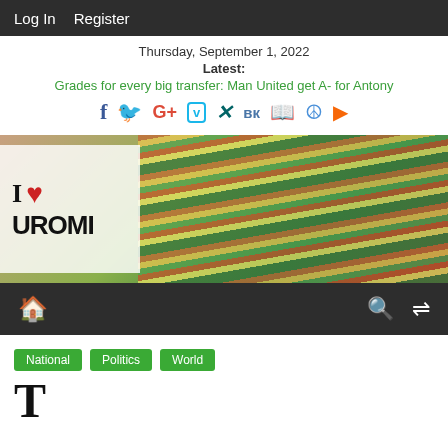Log In   Register
Thursday, September 1, 2022
Latest:
Grades for every big transfer: Man United get A- for Antony
[Figure (infographic): Social media sharing icons: Facebook, Twitter, Google+, Vimeo, Xing, VK, BookMark, Peace, RSS]
[Figure (photo): Banner image showing 'I ❤ UROMI' logo overlay on colorful traditional textile/fabric photo]
Navigation bar with home icon, search icon, and shuffle icon
National
Politics
World
T...